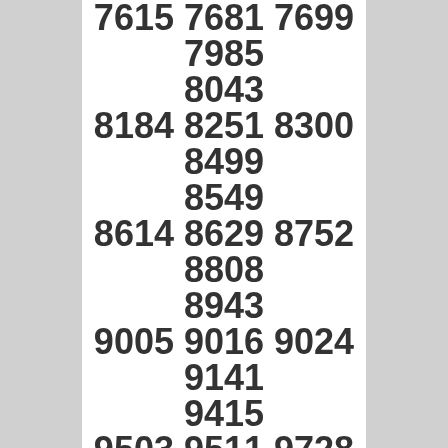7615 7681 7699 7985
8043
8184 8251 8300 8499
8549
8614 8629 8752 8808
8943
9005 9016 9024 9141
9415
9503 9511 9728 9958